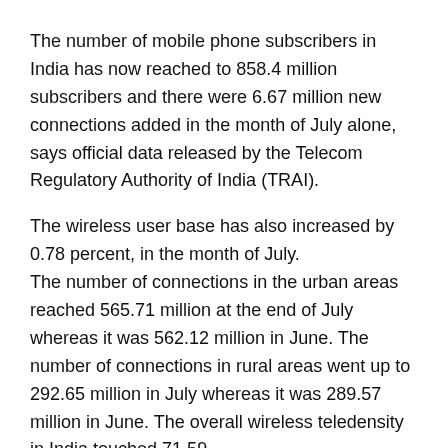The number of mobile phone subscribers in India has now reached to 858.4 million subscribers and there were 6.67 million new connections added in the month of July alone, says official data released by the Telecom Regulatory Authority of India (TRAI).
The wireless user base has also increased by 0.78 percent, in the month of July. The number of connections in the urban areas reached 565.71 million at the end of July whereas it was 562.12 million in June. The number of connections in rural areas went up to 292.65 million in July whereas it was 289.57 million in June. The overall wireless teledensity in India touched 71.59.
Out of all the 858.4 million wireless subscribers, only 601.4